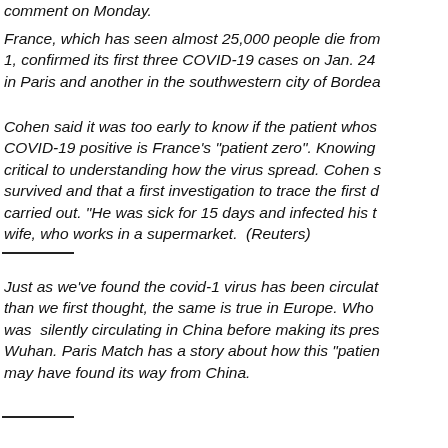comment on Monday.
France, which has seen almost 25,000 people die from 1, confirmed its first three COVID-19 cases on Jan. 24 in Paris and another in the southwestern city of Bordea
Cohen said it was too early to know if the patient whos COVID-19 positive is France's "patient zero". Knowing critical to understanding how the virus spread. Cohen s survived and that a first investigation to trace the first d carried out. "He was sick for 15 days and infected his t wife, who works in a supermarket.  (Reuters)
Just as we've found the covid-1 virus has been circulat than we first thought, the same is true in Europe. Who was  silently circulating in China before making its pres Wuhan. Paris Match has a story about how this "patien may have found its way from China.